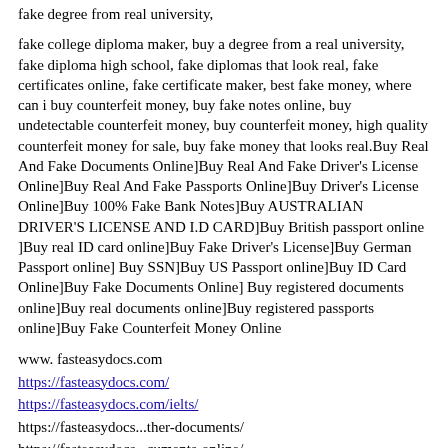fake degree from real university,
fake college diploma maker, buy a degree from a real university, fake diploma high school, fake diplomas that look real, fake certificates online, fake certificate maker, best fake money, where can i buy counterfeit money, buy fake notes online, buy undetectable counterfeit money, buy counterfeit money, high quality counterfeit money for sale, buy fake money that looks real.Buy Real And Fake Documents Online]Buy Real And Fake Driver's License Online]Buy Real And Fake Passports Online]Buy Driver's License Online]Buy 100% Fake Bank Notes]Buy AUSTRALIAN DRIVER'S LICENSE AND I.D CARD]Buy British passport online ]Buy real ID card online]Buy Fake Driver's License]Buy German Passport online] Buy SSN]Buy US Passport online]Buy ID Card Online]Buy Fake Documents Online] Buy registered documents online]Buy real documents online]Buy registered passports online]Buy Fake Counterfeit Money Online
www. fasteasydocs.com
https://fasteasydocs.com/
https://fasteasydocs.com/ielts/
https://fasteasydocs...ther-documents/
https://fasteasydocs...cuments-online/
https://fasteasydocs...cuments-online/